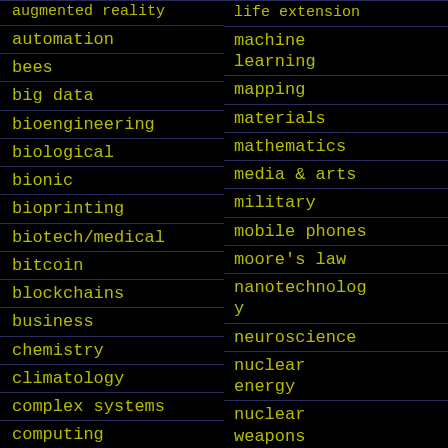augmented reality
automation
bees
big data
bioengineering
biological
bionic
bioprinting
biotech/medical
bitcoin
blockchains
business
chemistry
climatology
complex systems
computing
cosmology
counterterrorism
cryonics
life extension
machine learning
mapping
materials
mathematics
media & arts
military
mobile phones
moore's law
nanotechnology
neuroscience
nuclear energy
nuclear weapons
open access
open source